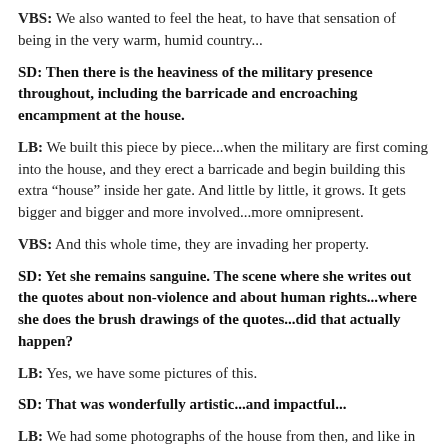VBS: We also wanted to feel the heat, to have that sensation of being in the very warm, humid country...
SD: Then there is the heaviness of the military presence throughout, including the barricade and encroaching encampment at the house.
LB: We built this piece by piece...when the military are first coming into the house, and they erect a barricade and begin building this extra “house” inside her gate. And little by little, it grows. It gets bigger and bigger and more involved...more omnipresent.
VBS: And this whole time, they are invading her property.
SD: Yet she remains sanguine. The scene where she writes out the quotes about non-violence and about human rights...where she does the brush drawings of the quotes...did that actually happen?
LB: Yes, we have some pictures of this.
SD: That was wonderfully artistic...and impactful...
LB: We had some photographs of the house from then, and like in the film, everywhere, every wall was covered with these. You know, it was her way of surviving, to fight with words.
SD: And to remember them.